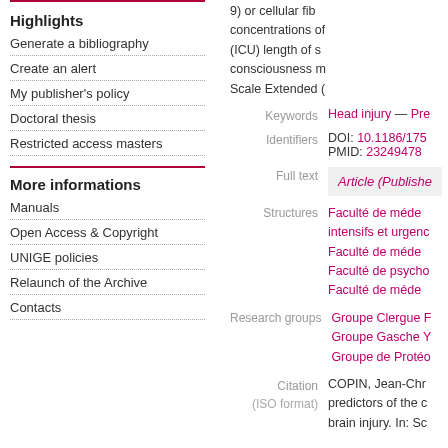Highlights
Generate a bibliography
Create an alert
My publisher's policy
Doctoral thesis
Restricted access masters
More informations
Manuals
Open Access & Copyright
UNIGE policies
Relaunch of the Archive
Contacts
9) or cellular fib concentrations of (ICU) length of s consciousness m Scale Extended (
Keywords: Head injury — Pre
Identifiers DOI: 10.1186/175 PMID: 23249478
Full text Article (Publishe
Structures Faculté de méde intensifs et urgenc Faculté de méde Faculté de psycho Faculté de méde
Research groups Groupe Clergue F Groupe Gasche Y Groupe de Protéo
Citation (ISO format) COPIN, Jean-Chr predictors of the c brain injury. In: Sc